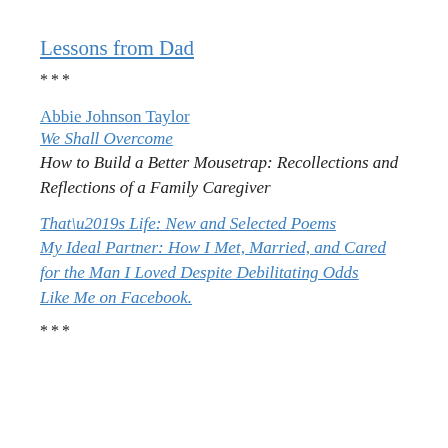Lessons from Dad
***
Abbie Johnson Taylor
We Shall Overcome
How to Build a Better Mousetrap: Recollections and Reflections of a Family Caregiver
That’s Life: New and Selected Poems
My Ideal Partner: How I Met, Married, and Cared for the Man I Loved Despite Debilitating Odds
Like Me on Facebook.
***